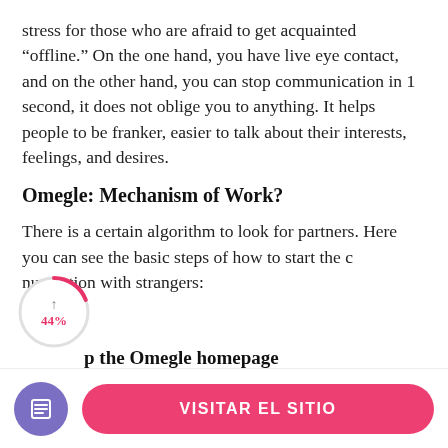stress for those who are afraid to get acquainted “offline.” On the one hand, you have live eye contact, and on the other hand, you can stop communication in 1 second, it does not oblige you to anything. It helps people to be franker, easier to talk about their interests, feelings, and desires.
Omegle: Mechanism of Work?
There is a certain algorithm to look for partners. Here you can see the basic steps of how to start the communication with strangers:
[Figure (infographic): Circular progress indicator showing 44% in pink/red color with upward arrow icon]
Go to the Omegle homepage
(partial faded text at bottom)